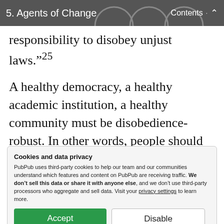5. Agents of Change   Contents
responsibility to disobey unjust laws.”²⁵
A healthy democracy, a healthy academic institution, a healthy community must be disobedience-robust. In other words, people should be allowed and encouraged to speak up against those in power without fear of retribution, and the questioning
Cookies and data privacy
PubPub uses third-party cookies to help our team and our communities understand which features and content on PubPub are receiving traffic. We don’t sell this data or share it with anyone else, and we don’t use third-party processors who aggregate and sell data. Visit your privacy settings to learn more.
the rest of the institution to...